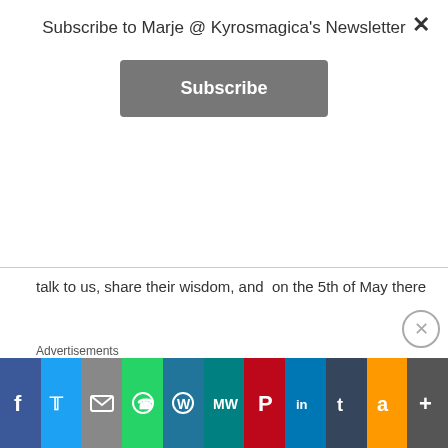Subscribe to Marje @ Kyrosmagica's Newsletter
[Figure (other): Subscribe button - grey rounded rectangle with white bold text 'Subscribe']
talk to us, share their wisdom, and  on the 5th of May there is to be a Writer's resources evening.  So what are you waiting for, check out the local writing groups in your area, and if you live in Cambridge, England, here's the links to find out more:
http://www.cambridgewriters.net/.
and come and support us by liking Cambridge Writer's new Facebook page:
http://www.facebook.com/pages/Cambridge...
Advertisements
Simplified pricing for
[Figure (infographic): Social sharing bar with icons: Facebook (blue), Twitter (light blue), Email (grey), WhatsApp (green), WordPress (blue), MeWe (teal), Pinterest (red), LinkedIn (blue), Tumblr (dark blue), Amazon (orange), Plus/More (grey)]